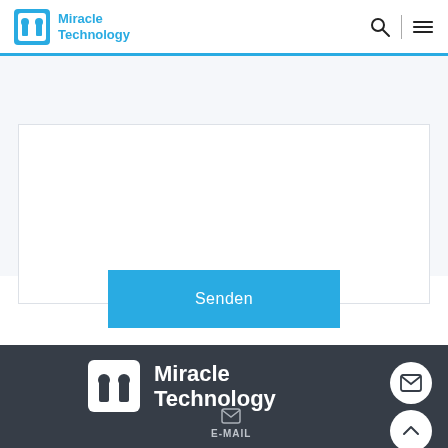Miracle Technology
[Figure (screenshot): White textarea/form input box on light gray background]
Senden
[Figure (logo): Miracle Technology logo in white on dark footer background]
E-MAIL